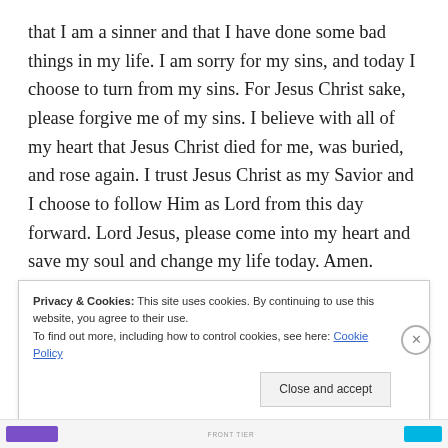that I am a sinner and that I have done some bad things in my life. I am sorry for my sins, and today I choose to turn from my sins. For Jesus Christ sake, please forgive me of my sins. I believe with all of my heart that Jesus Christ died for me, was buried, and rose again. I trust Jesus Christ as my Savior and I choose to follow Him as Lord from this day forward. Lord Jesus, please come into my heart and save my soul and change my life today. Amen.
Privacy & Cookies: This site uses cookies. By continuing to use this website, you agree to their use. To find out more, including how to control cookies, see here: Cookie Policy
Close and accept